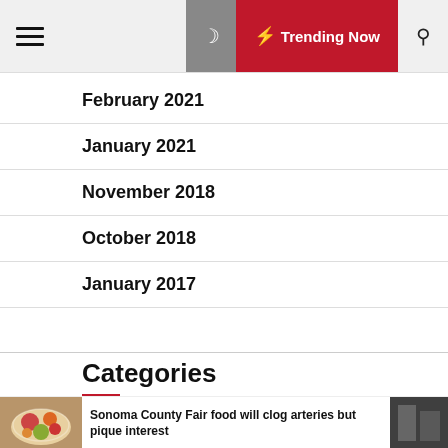Trending Now
February 2021
January 2021
November 2018
October 2018
January 2017
Categories
Sonoma County Fair food will clog arteries but pique interest